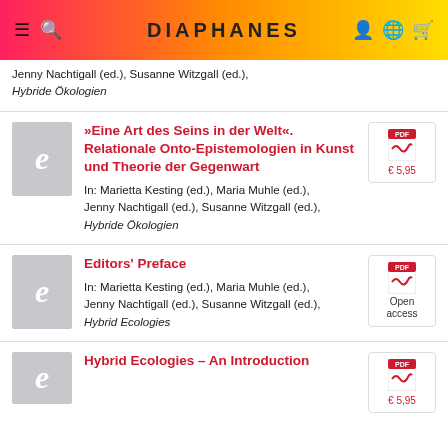DIAPHANES
Jenny Nachtigall (ed.), Susanne Witzgall (ed.), Hybride Ökologien
»Eine Art des Seins in der Welt«. Relationale Onto-Epistemologien in Kunst und Theorie der Gegenwart
In: Marietta Kesting (ed.), Maria Muhle (ed.), Jenny Nachtigall (ed.), Susanne Witzgall (ed.), Hybride Ökologien
Editors' Preface
In: Marietta Kesting (ed.), Maria Muhle (ed.), Jenny Nachtigall (ed.), Susanne Witzgall (ed.), Hybrid Ecologies
Hybrid Ecologies – An Introduction